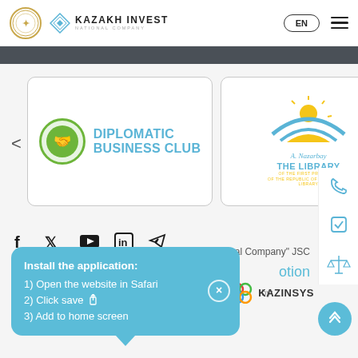[Figure (screenshot): Kazakh Invest website header with government seal logo, Kazakh Invest National Company diamond logo, EN language selector button, and hamburger menu icon]
[Figure (logo): Diplomatic Business Club logo — green globe with handshake and teal text]
[Figure (logo): The Library of the First President of the Republic of Kazakhstan logo — sun and swoosh design]
[Figure (screenshot): Social media icon bar: Facebook, Twitter, YouTube, LinkedIn, Telegram]
ional Company" JSC
otion
by:
[Figure (logo): KAZINSYS logo with colored circles]
Install the application:
1) Open the website in Safari
2) Click save
3) Add to home screen